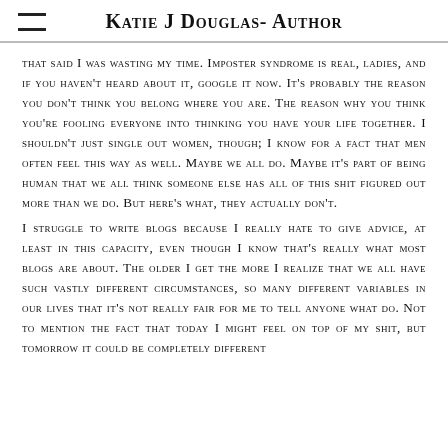Katie J Douglas- Author
that said I was wasting my time. Imposter syndrome is real, ladies, and if you haven't heard about it, google it now. It's probably the reason you don't think you belong where you are. The reason why you think you're fooling everyone into thinking you have your life together. I shouldn't just single out women, though; I know for a fact that men often feel this way as well. Maybe we all do. Maybe it's part of being human that we all think someone else has all of this shit figured out more than we do. But here's what, they actually don't.
I struggle to write blogs because I really hate to give advice, at least in this capacity, even though I know that's really what most blogs are about. The older I get the more I realize that we all have such vastly different circumstances, so many different variables in our lives that it's not really fair for me to tell anyone what do. Not to mention the fact that today I might feel on top of my shit, but tomorrow it could be completely different